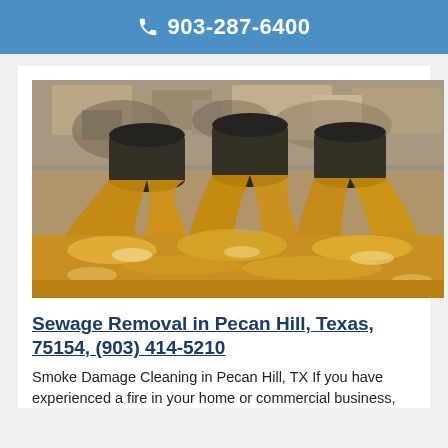903-287-6400
[Figure (photo): Three large industrial pipes discharging brown/orange sewage or turbid water into a body of water, with a concrete wall structure in the background.]
Sewage Removal in Pecan Hill, Texas, 75154, (903) 414-5210
Smoke Damage Cleaning in Pecan Hill, TX If you have experienced a fire in your home or commercial business,